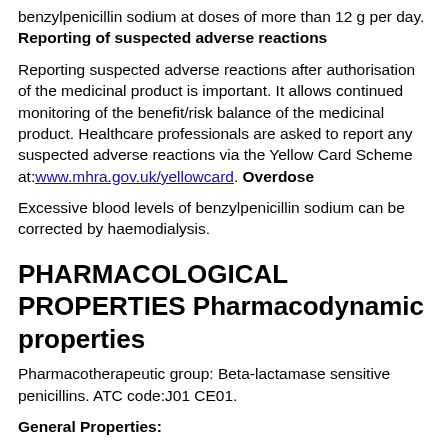benzylpenicillin sodium at doses of more than 12 g per day. Reporting of suspected adverse reactions
Reporting suspected adverse reactions after authorisation of the medicinal product is important. It allows continued monitoring of the benefit/risk balance of the medicinal product. Healthcare professionals are asked to report any suspected adverse reactions via the Yellow Card Scheme at:www.mhra.gov.uk/yellowcard. Overdose
Excessive blood levels of benzylpenicillin sodium can be corrected by haemodialysis.
PHARMACOLOGICAL PROPERTIES Pharmacodynamic properties
Pharmacotherapeutic group: Beta-lactamase sensitive penicillins. ATC code:J01 CE01.
General Properties:
benzylpenicillin sodium is a beta-lactam antibiotic. It is bactericidal by inhibiting bacterial cell wall biosynthesis.